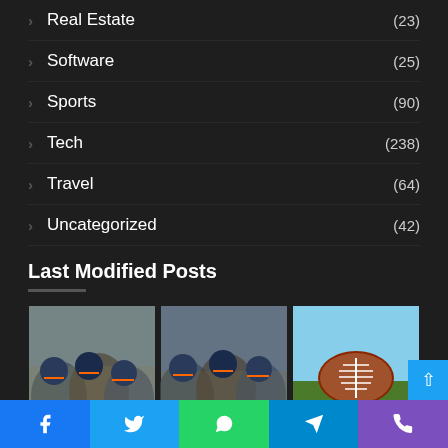Real Estate (23)
Software (25)
Sports (90)
Tech (238)
Travel (64)
Uncategorized (42)
Last Modified Posts
[Figure (photo): Football players in a huddle/scrimmage, side view]
[Figure (photo): Football players in a huddle/scrimmage, side view]
[Figure (photo): American football on green grass field]
[Figure (photo): Football players in action]
[Figure (photo): Colorful music/speaker graphic with green and red circles]
[Figure (photo): Instagram-style camera icon graphic]